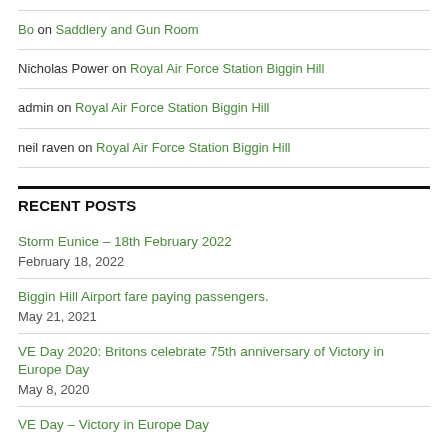Bo on Saddlery and Gun Room
Nicholas Power on Royal Air Force Station Biggin Hill
admin on Royal Air Force Station Biggin Hill
neil raven on Royal Air Force Station Biggin Hill
RECENT POSTS
Storm Eunice – 18th February 2022
February 18, 2022
Biggin Hill Airport fare paying passengers.
May 21, 2021
VE Day 2020: Britons celebrate 75th anniversary of Victory in Europe Day
May 8, 2020
VE Day – Victory in Europe Day